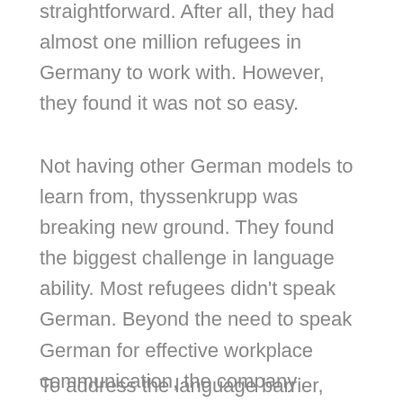straightforward. After all, they had almost one million refugees in Germany to work with. However, they found it was not so easy.
Not having other German models to learn from, thyssenkrupp was breaking new ground. They found the biggest challenge in language ability. Most refugees didn’t speak German. Beyond the need to speak German for effective workplace communication, the company needed to ensure that every worker understood health, safety and security guidelines.
To address the language barrier, they offered